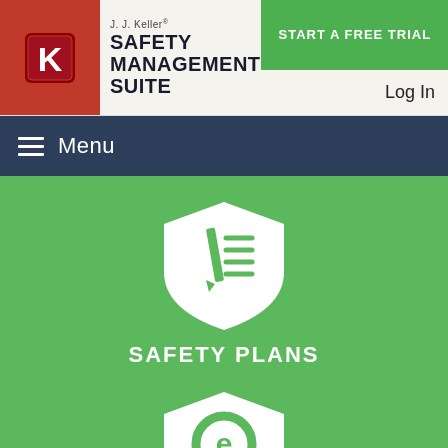[Figure (logo): J.J. Keller Safety Management Suite logo with red diamond K logo and shield icon]
START A FREE TRIAL
Log In
Menu
[Figure (illustration): White shield icon with pencil and lines (document) symbol on green background]
SAFETY PLANS
[Figure (illustration): White shield icon with light bulb/idea symbol on green background]
EXPERT HELP